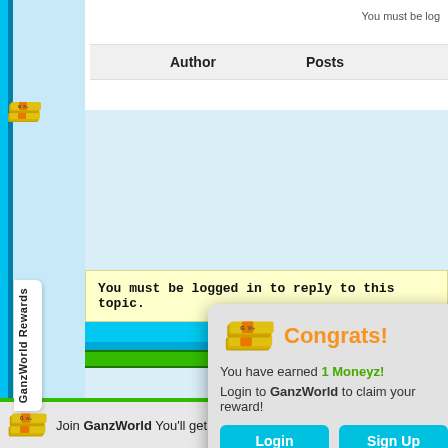You must be log
| Author | Posts |
| --- | --- |
You must be logged in to reply to this topic.
[Figure (illustration): GanzWorld Rewards money stack icon on left sidebar tab]
GanzWorld Rewards
[Figure (infographic): Congrats popup: money stack icon, orange Congrats! heading, green 1 Moneyz text, Login and Sign Up buttons]
Join GanzWorld You'll get 1500 Moneyz!